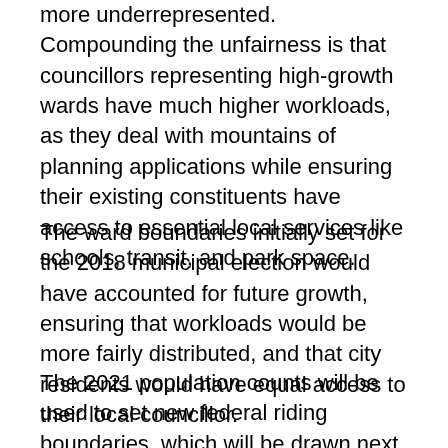more underrepresented. Compounding the unfairness is that councillors representing high-growth wards have much higher workloads, as they deal with mountains of planning applications while ensuring their existing constituents have access to essential local services like schools, transit, and park space.
The ward boundaries initially set for the 2018 municipal election would have accounted for future growth, ensuring that workloads would be more fairly distributed, and that city residents would have equal access to their local councillor.
The 2021 population counts will be used to set new federal riding boundaries, which will be drawn next year after a consultation period and used in the first federal election held after 2023. The province will likely adopt the